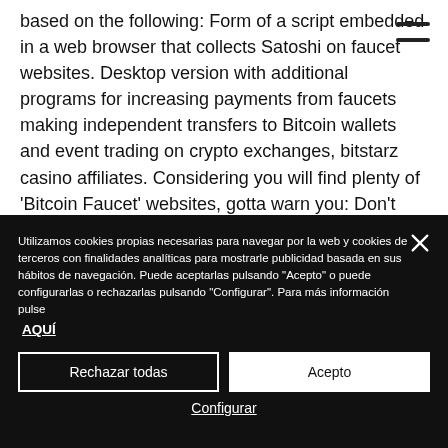based on the following: Form of a script embedded in a web browser that collects Satoshi on faucet websites. Desktop version with additional programs for increasing payments from faucets making independent transfers to Bitcoin wallets and event trading on crypto exchanges, bitstarz casino affiliates. Considering you will find plenty of 'Bitcoin Faucet' websites, gotta warn you: Don't worry about the competition ' it actually
Utilizamos cookies propias necesarias para navegar por la web y cookies de terceros con finalidades analíticas para mostrarle publicidad basada en sus hábitos de navegación. Puede aceptarlas pulsando "Acepto" o puede configurarlas o rechazarlas pulsando "Configurar". Para más información pulse AQUÍ
Rechazar todas
Acepto
Configurar